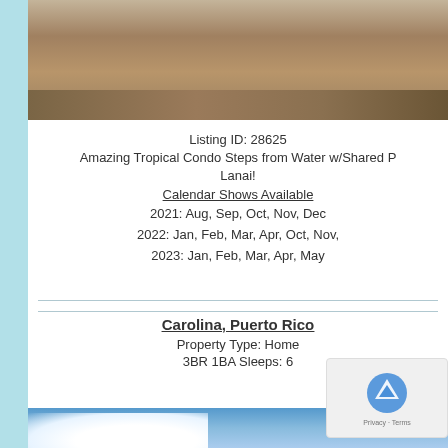[Figure (photo): Interior photo showing a wooden counter/bar with pottery, plants and decorative items on it]
Listing ID: 28625
Amazing Tropical Condo Steps from Water w/Shared P... Lanai!
Calendar Shows Available
2021: Aug, Sep, Oct, Nov, Dec
2022: Jan, Feb, Mar, Apr, Oct, Nov,
2023: Jan, Feb, Mar, Apr, May
Carolina, Puerto Rico
Property Type: Home
3BR 1BA Sleeps: 6
[Figure (photo): Outdoor photo showing blue sky with clouds]